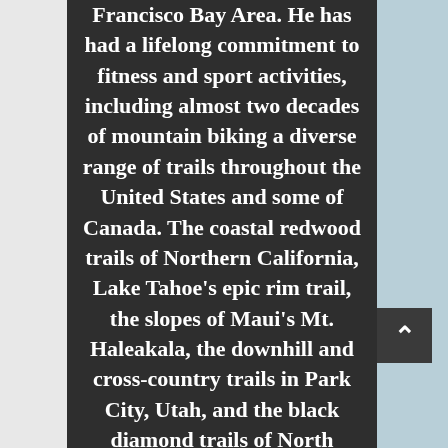Francisco Bay Area. He has had a lifelong commitment to fitness and sport activities, including almost two decades of mountain biking a diverse range of trails throughout the United States and some of Canada. The coastal redwood trails of Northern California, Lake Tahoe's epic rim trail, the slopes of Maui's Mt. Haleakala, the downhill and cross-country trails in Park City, Utah, and the black diamond trails of North Carolina's Pisgah Forest are just a few of the